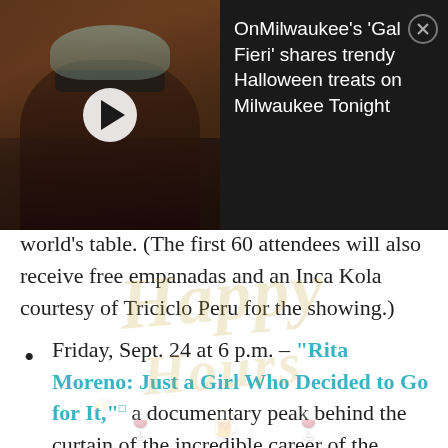[Figure (screenshot): Video thumbnail showing a person with sunglasses and light hair in a dark setting, with a white play button overlay]
OnMilwaukee's 'Gal Fieri' shares trendy Halloween treats on Milwaukee Tonight
world's table. (The first 60 attendees will also receive free empanadas and an Inca Kola courtesy of Triciclo Peru for the showing.)
Friday, Sept. 24 at 6 p.m. – "Rita Moreno: Just a Girl Who Decided to Go for It," a documentary peak behind the curtain of the incredible career of the Oscar-winning, ceiling-shattering "West Side Story" star.
Saturday, Sept. 25 at 1:30 p.m. – "My Name is Lopez," a rock doc following the groundbreaking career of rock legend Trini Lopez.